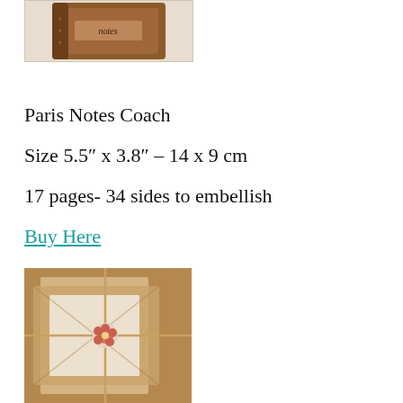[Figure (photo): Photo of a small brown leather notebook with 'notes' written on the cover, partially cropped at top of page]
Paris Notes Coach
Size 5.5″ x 3.8″ – 14 x 9 cm
17 pages- 34 sides to embellish
Buy Here
[Figure (photo): Photo of a wrapped package or journal tied with twine and decorated with a floral embellishment, partially visible at bottom of page]